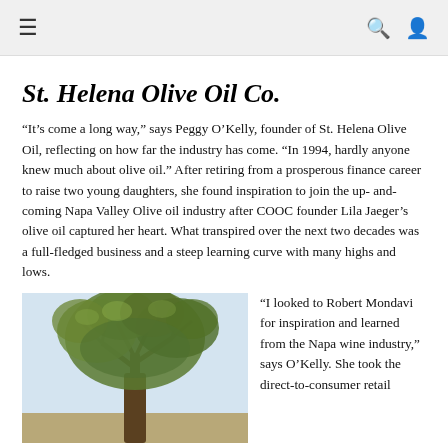≡  🔍  👤
St. Helena Olive Oil Co.
“It’s come a long way,” says Peggy O’Kelly, founder of St. Helena Olive Oil, reflecting on how far the industry has come. “In 1994, hardly anyone knew much about olive oil.” After retiring from a prosperous finance career to raise two young daughters, she found inspiration to join the up- and-coming Napa Valley Olive oil industry after COOC founder Lila Jaeger’s olive oil captured her heart. What transpired over the next two decades was a full-fledged business and a steep learning curve with many highs and lows.
[Figure (photo): Photograph of an olive tree with dense green foliage against a pale sky]
“I looked to Robert Mondavi for inspiration and learned from the Napa wine industry,” says O’Kelly. She took the direct-to-consumer retail